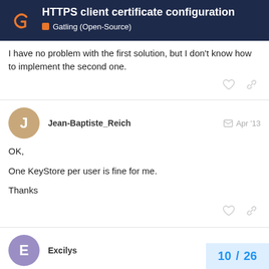HTTPS client certificate configuration — Gatling (Open-Source)
I have no problem with the first solution, but I don't know how to implement the second one.
Jean-Baptiste_Reich — Apr '13
OK,

One KeyStore per user is fine for me.

Thanks
Excilys — Apr '13
10 / 26